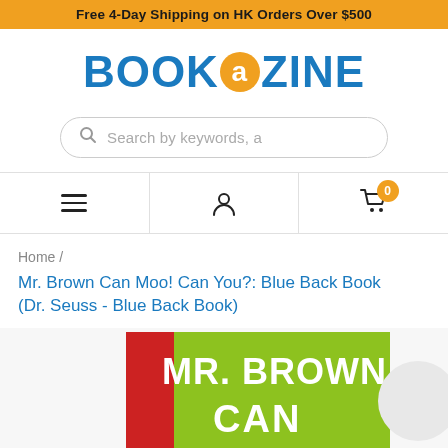Free 4-Day Shipping on HK Orders Over $500
[Figure (logo): Bookazine logo with orange circle containing letter 'a' between BOOK and ZINE in blue]
[Figure (screenshot): Search bar with magnifying glass icon and placeholder text 'Search by keywords, a']
[Figure (infographic): Navigation bar with hamburger menu, user account icon, and shopping cart with badge showing 0]
Home /
Mr. Brown Can Moo! Can You?: Blue Back Book (Dr. Seuss - Blue Back Book)
[Figure (photo): Book cover showing 'MR. BROWN CAN' text in white on green background with red element on left side]